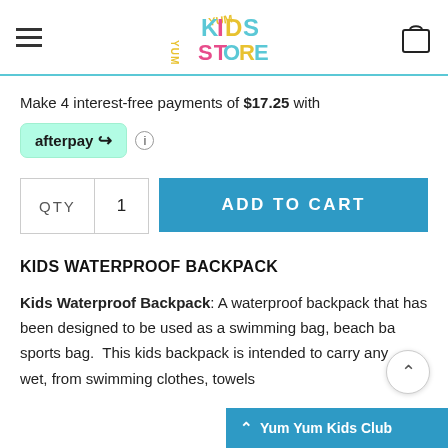Yum Yum Kids Store — navigation header with hamburger menu, logo, and cart icon
Make 4 interest-free payments of $17.25 with afterpay
QTY 1  ADD TO CART
KIDS WATERPROOF BACKPACK
Kids Waterproof Backpack: A waterproof backpack that has been designed to be used as a swimming bag, beach bag, sports bag. This kids backpack is intended to carry anything wet, from swimming clothes, towels